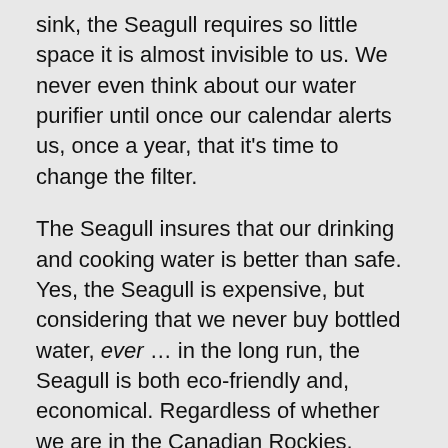sink, the Seagull requires so little space it is almost invisible to us. We never even think about our water purifier until once our calendar alerts us, once a year, that it's time to change the filter.
The Seagull insures that our drinking and cooking water is better than safe. Yes, the Seagull is expensive, but considering that we never buy bottled water, ever… in the long run, the Seagull is both eco-friendly and, economical. Regardless of whether we are in the Canadian Rockies, Florida, South Dakota, The Mojave Desert, or San Diego our water always looks, smells and tastes exactly the same.
In the last few years we've encountered several places where the water is unpalatable. While camping in Salem, a toxic bloom alert was enforced and bottled water was impossible to find. Lucky for us we had a full tank of filtered water on board.